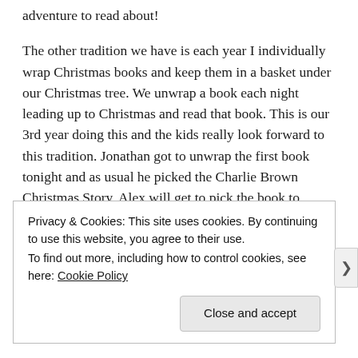adventure to read about!
The other tradition we have is each year I individually wrap Christmas books and keep them in a basket under our Christmas tree. We unwrap a book each night leading up to Christmas and read that book. This is our 3rd year doing this and the kids really look forward to this tradition. Jonathan got to unwrap the first book tonight and as usual he picked the Charlie Brown Christmas Story. Alex will get to pick the book to unwrap and read tomorrow night. My goal is to have 24 books that we get to unwrap each year starting on December 1st. We only have 13 books this year but I try to add one or two books each year.
Privacy & Cookies: This site uses cookies. By continuing to use this website, you agree to their use.
To find out more, including how to control cookies, see here: Cookie Policy